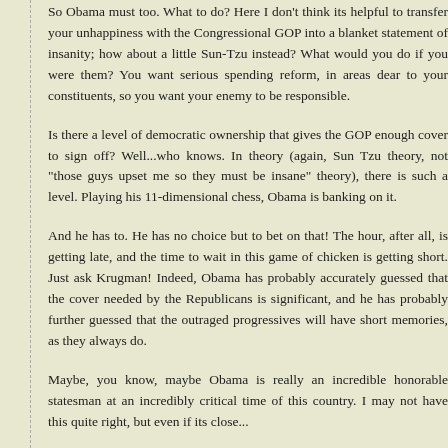So Obama must too. What to do? Here I don't think its helpful to transfer your unhappiness with the Congressional GOP into a blanket statement of insanity; how about a little Sun-Tzu instead? What would you do if you were them? You want serious spending reform, in areas dear to your constituents, so you want your enemy to be responsible.
Is there a level of democratic ownership that gives the GOP enough cover to sign off? Well...who knows. In theory (again, Sun Tzu theory, not "those guys upset me so they must be insane" theory), there is such a level. Playing his 11-dimensional chess, Obama is banking on it.
And he has to. He has no choice but to bet on that! The hour, after all, is getting late, and the time to wait in this game of chicken is getting short. Just ask Krugman! Indeed, Obama has probably accurately guessed that the cover needed by the Republicans is significant, and he has probably further guessed that the outraged progressives will have short memories, as they always do.
Maybe, you know, maybe Obama is really an incredible honorable statesman at an incredibly critical time of this country. I may not have this quite right, but even if its close...